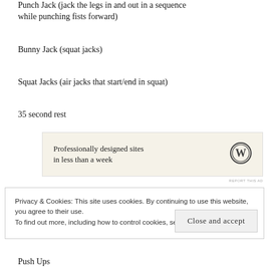Punch Jack (jack the legs in and out in a sequence while punching fists forward)
Bunny Jack (squat jacks)
Squat Jacks (air jacks that start/end in squat)
35 second rest
[Figure (other): WordPress advertisement banner: 'Professionally designed sites in less than a week' with WordPress logo]
Privacy & Cookies: This site uses cookies. By continuing to use this website, you agree to their use. To find out more, including how to control cookies, see here: Cookie Policy
Push Ups